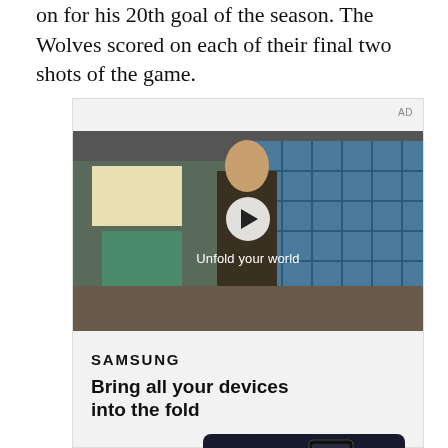on for his 20th goal of the season. The Wolves scored on each of their final two shots of the game.
[Figure (screenshot): Samsung advertisement featuring a video thumbnail of a young man in a school cafeteria with text 'Unfold your world' and a play button overlay. Below the video is the Samsung logo, headline 'Bring all your devices into the fold', a 'LEARN MORE' button, and a phone showing group of people.]
AD